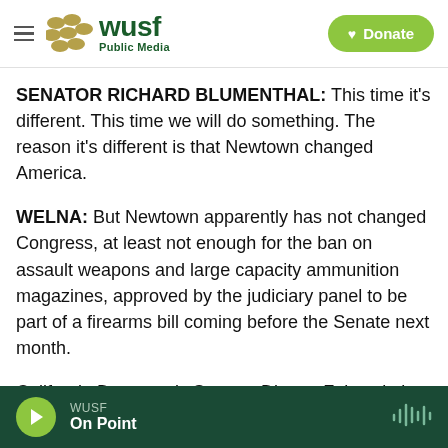WUSF Public Media — Donate
SENATOR RICHARD BLUMENTHAL: This time it's different. This time we will do something. The reason it's different is that Newtown changed America.
WELNA: But Newtown apparently has not changed Congress, at least not enough for the ban on assault weapons and large capacity ammunition magazines, approved by the judiciary panel to be part of a firearms bill coming before the Senate next month.
California Democratic Senator Dianne Feinstein is
WUSF — On Point